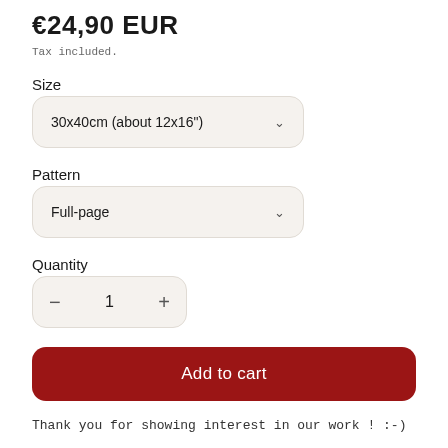€24,90 EUR
Tax included.
Size
30x40cm (about 12x16")
Pattern
Full-page
Quantity
1
Add to cart
Thank you for showing interest in our work ! :-)